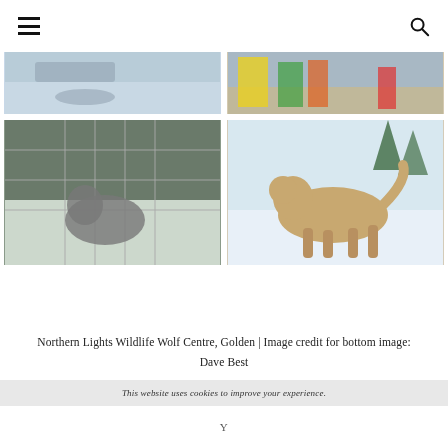[Figure (photo): Top-left: wolf lying in snowy enclosure]
[Figure (photo): Top-right: colorful market scene with people in winter clothing]
[Figure (photo): Bottom-left: wolf visible through chain-link fence]
[Figure (photo): Bottom-right: golden/beige wolf walking through snow with evergreen trees in background]
Northern Lights Wildlife Wolf Centre, Golden | Image credit for bottom image: Dave Best
This website uses cookies to improve your experience.
Y